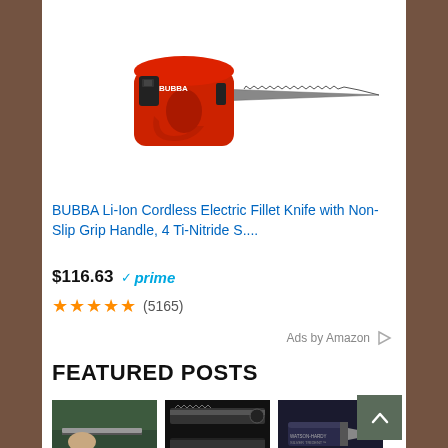[Figure (photo): Red BUBBA Li-Ion Cordless Electric Fillet Knife with blade extended]
BUBBA Li-Ion Cordless Electric Fillet Knife with Non-Slip Grip Handle, 4 Ti-Nitride S....
$116.63  prime
★★★★★ (5165)
Ads by Amazon ▷
FEATURED POSTS
[Figure (photo): Hand holding a blade against green background]
[Figure (photo): Two knife blade close-ups on black background]
[Figure (photo): Watson-Hardy Silver Trident knife in box]